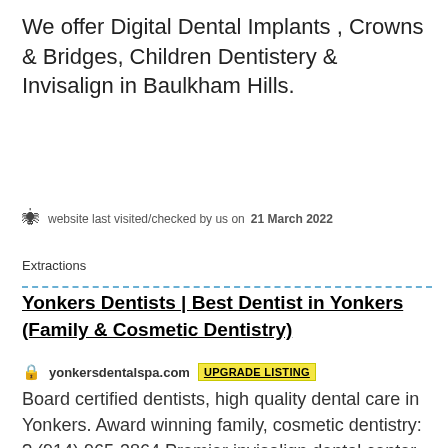We offer Digital Dental Implants , Crowns & Bridges, Children Dentistery & Invisalign in Baulkham Hills.
website last visited/checked by us on 21 March 2022
Extractions
Yonkers Dentists | Best Dentist in Yonkers (Family & Cosmetic Dentistry)
yonkersdentalspa.com  UPGRADE LISTING
Board certified dentists, high quality dental care in Yonkers. Award winning family, cosmetic dentistry: ? (914) 965-3864 Premier invisalign dental center.